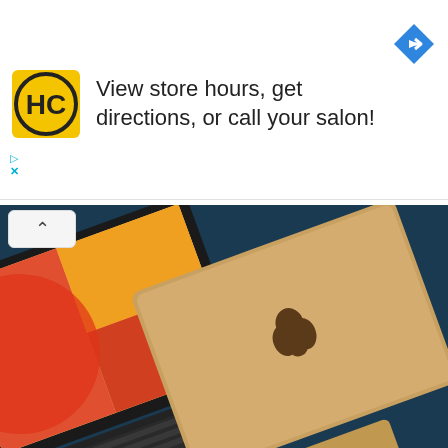[Figure (infographic): Advertisement banner with HC (Hair Club) logo, text 'View store hours, get directions, or call your salon!', and a blue navigation diamond icon. Small cyan play and X controls at lower left.]
View store hours, get directions, or call your salon!
[Figure (photo): Photo of two Apple MacBook laptops on a dark blue background — one open showing colorful orange/red/pink wallpaper with a black keyboard, the other closed showing gold aluminum lid with Apple logo. A collapse/chevron-up button overlays the top-left corner.]
Top 10 Laptop Brands Of The Year 2022
[Figure (photo): Bottom strip showing white tulips on the left and a laptop with a green element and numeric display on the right, with a blue scroll-up arrow button at the bottom right.]